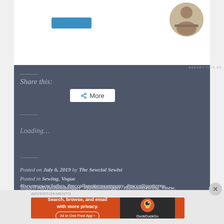[Figure (photo): Top advertisement banner with a person image in a circle on the right side and a blue button on the left, white background]
REPORT THIS AD
Share this:
[Figure (other): More share button with share icon]
Loading...
Posted on July 6, 2019 by The Sewcial Sewist
Posted in Sewing, Vogue
Tagged #diyfashionblogger, #fashionblogger, #fashionsewing, #isew, #isewmyownclothes, #mccallspatterncompany, #mccallspatterns
Advertisements
[Figure (screenshot): DuckDuckGo advertisement banner: Search, browse, and email with more privacy. All in One Free App]